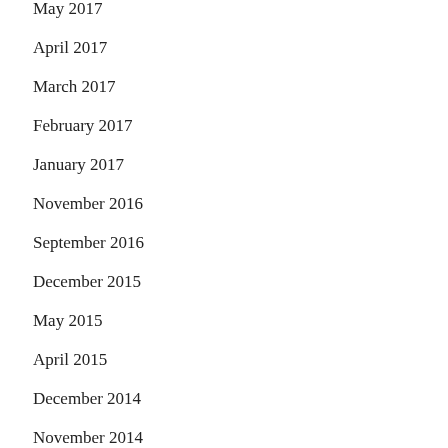May 2017
April 2017
March 2017
February 2017
January 2017
November 2016
September 2016
December 2015
May 2015
April 2015
December 2014
November 2014
October 2014
September 2014
August 2014
May 2014